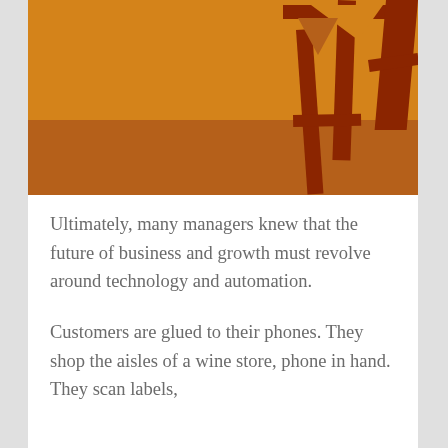[Figure (illustration): Illustration showing orange and dark orange toned background with a dark red/brown chair or furniture legs visible on the right side. The image has two horizontal bands: a brighter orange upper half and a darker burnt orange lower half.]
Ultimately, many managers knew that the future of business and growth must revolve around technology and automation.
Customers are glued to their phones. They shop the aisles of a wine store, phone in hand. They scan labels,